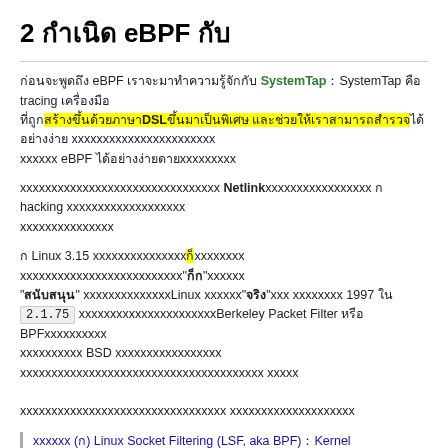2 กำเนิด eBPF กับ
ก่อนจะพูดถึง eBPF เราจะมาทำความรู้จักกับ SystemTap SystemTap คือ tracing เครื่องมือ ที่ถูกสร้างขึ้นด้วยภาษา DSL ขึ้นมาเป็นพิเศษ และช่วยให้เราสามารถสำรวจ eBPF ได้อย่างง่ายดาย
มีอีกวิธีที่นอกเหนือจากนั้น คือ Netlink ซึ่งเป็นวิธีที่ ก hacking แต่ก็ยังสามารถใช้งานได้อยู่
ก Linux 3.15 เพิ่มสิ่งที่เรียกว่า ก็ คือ สิ่งที่เรียกว่า "ก็" เพื่อ "สนับสนุน" ซึ่งถูกนำเข้าในLinux เรียกว่า"จริง"แล้ว เกิดขึ้นใน 1997 ใน 2.1.75 ซึ่งในขณะนั้นเรียกว่าBerkeley Packet Filter หรือ BPF ซึ่งมาจาก BSD นั่นเอง และเป็นต้นกำเนิดของชื่อที่เราใช้กันอยู่ทุกวันนี้ และเป็นที่มาของชื่อ
อ้างอิง (ก) Linux Socket Filtering (LSF, aka BPF) Kernel 2021ก